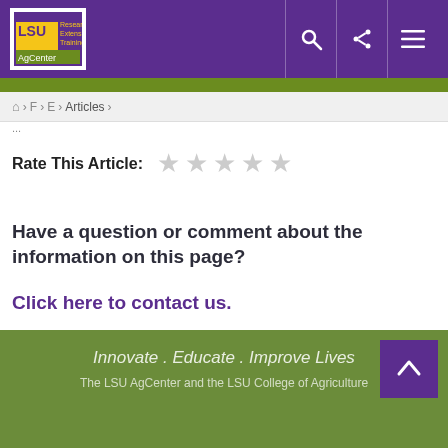[Figure (logo): LSU AgCenter logo with yellow and green design on white background]
Home > F > E > Articles >
Rate This Article: ☆☆☆☆☆
Have a question or comment about the information on this page?
Click here to contact us.
Innovate . Educate . Improve Lives
The LSU AgCenter and the LSU College of Agriculture